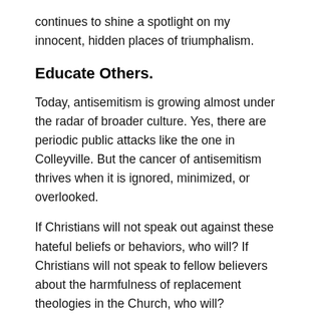continues to shine a spotlight on my innocent, hidden places of triumphalism.
Educate Others.
Today, antisemitism is growing almost under the radar of broader culture. Yes, there are periodic public attacks like the one in Colleyville. But the cancer of antisemitism thrives when it is ignored, minimized, or overlooked.
If Christians will not speak out against these hateful beliefs or behaviors, who will? If Christians will not speak to fellow believers about the harmfulness of replacement theologies in the Church, who will?
I encourage you to visit The Gateway Center for Israel to access tools to learn and better advocate for the Jewish